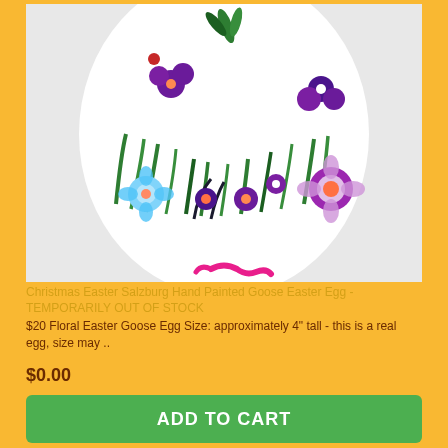[Figure (photo): A hand-painted goose Easter egg decorated with purple, white, and blue flowers with green grass against a white egg surface, with a pink ribbon at the bottom.]
Christmas Easter Salzburg Hand Painted Goose Easter Egg - TEMPORARILY OUT OF STOCK
$20 Floral Easter Goose Egg Size: approximately 4" tall - this is a real egg, size may ..
$0.00
ADD TO CART